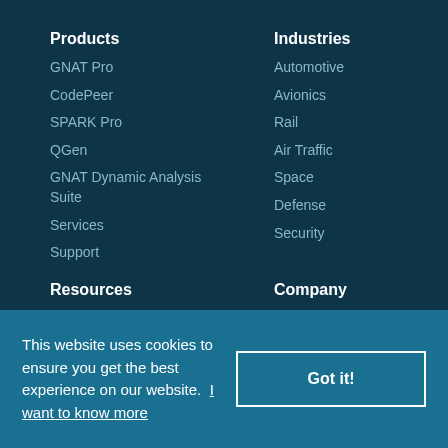Products
GNAT Pro
CodePeer
SPARK Pro
QGen
GNAT Dynamic Analysis Suite
Services
Support
Industries
Automotive
Avionics
Rail
Air Traffic
Space
Defense
Security
Resources
Company
This website uses cookies to ensure you get the best experience on our website.
I want to know more
Got it!